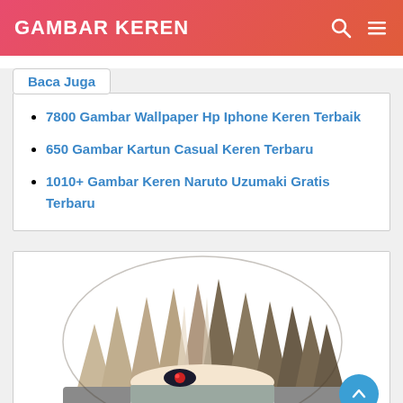GAMBAR KEREN
Baca Juga
7800 Gambar Wallpaper Hp Iphone Keren Terbaik
650 Gambar Kartun Casual Keren Terbaru
1010+ Gambar Keren Naruto Uzumaki Gratis Terbaru
[Figure (illustration): Anime character illustration showing spiky hair and a headband with a spiral symbol, partial face visible — appears to be Kakashi from Naruto]